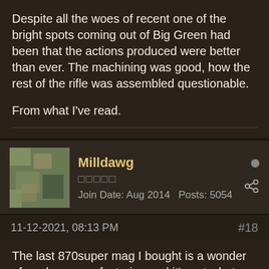Despite all the woes of recent one of the bright spots coming out of Big Green had been that the actions produced were better than ever. The machining was good, how the rest of the rifle was assembled questionable.

From what I've read.
Milldawg
□□□□□
Join Date: Aug 2014   Posts: 5054
11-12-2021, 08:13 PM   #18
The last 870super mag I bought is a wonder of modern manufacturing and it's not what they used to be. It sits and gathers dust. That's the other reason I bought the older 870 mag awhile